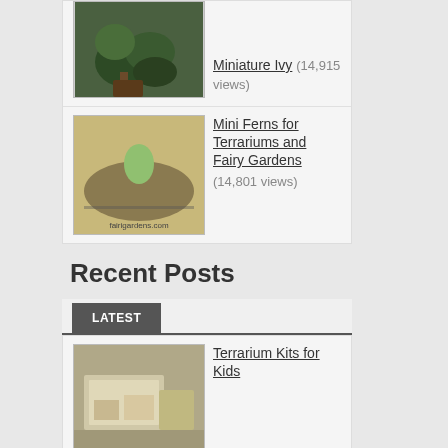[Figure (photo): Miniature Ivy plant thumbnail image]
Miniature Ivy (14,915 views)
[Figure (photo): Mini Ferns for Terrariums and Fairy Gardens thumbnail with decorative frog figurine]
Mini Ferns for Terrariums and Fairy Gardens (14,801 views)
Recent Posts
LATEST
[Figure (photo): Terrarium Kits for Kids thumbnail]
Terrarium Kits for Kids
[Figure (photo): Ti plant thumbnail (partially visible)]
Ti